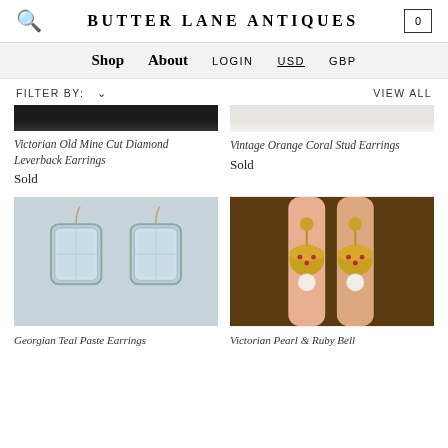BUTTER LANE ANTIQUES
Shop | About | LOGIN | USD | GBP
FILTER BY:    VIEW ALL
[Figure (photo): Partial view of Victorian Old Mine Cut Diamond Leverback Earrings product image (top cropped, dark background)]
Victorian Old Mine Cut Diamond Leverback Earrings
Sold
[Figure (photo): Partial view of Vintage Orange Coral Stud Earrings product image (top cropped, light background)]
Vintage Orange Coral Stud Earrings
Sold
[Figure (photo): Georgian Teal Paste Earrings product image: two rectangular pale blue/green paste stones in gold wire hooks on grey background]
Georgian Teal Paste Earrings
[Figure (photo): Victorian Pearl & Ruby Bell earrings product image: gold bell-shaped earrings with ruby accents and pearl drops, held between fingers against dark background]
Victorian Pearl & Ruby Bell